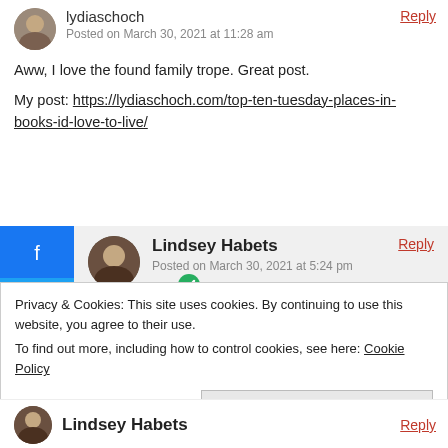lydiaschoch
Posted on March 30, 2021 at 11:28 am
Aww, I love the found family trope. Great post.
My post: https://lydiaschoch.com/top-ten-tuesday-places-in-books-id-love-to-live/
Lindsey Habets
Posted on March 30, 2021 at 5:24 pm
Found families are the best 🙂
Angela
Posted on March 30, 2021 at 11:36 am
Privacy & Cookies: This site uses cookies. By continuing to use this website, you agree to their use. To find out more, including how to control cookies, see here: Cookie Policy
Close and accept
Lindsey Habets